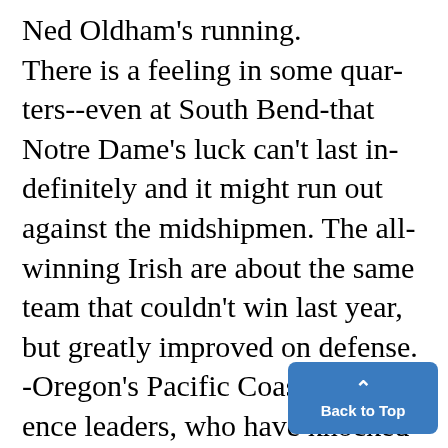Ned Oldham's running. There is a feeling in some quarters--even at South Bend-that Notre Dame's luck can't last indefinitely and it might run out against the midshipmen. The all-winning Irish are about the same team that couldn't win last year, but greatly improved on defense. -Oregon's Pacific Coast Conference leaders, who have knocked off two leading rivals for the Rose Bowl bid, get a chance to sew it up when they meet Stanford